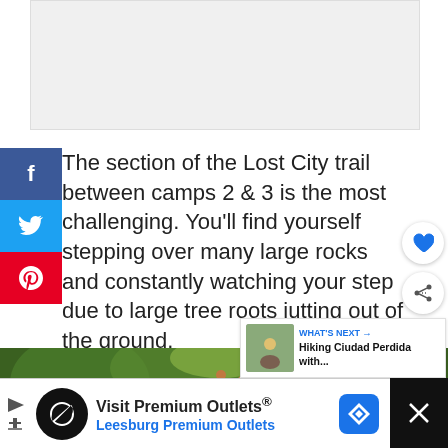[Figure (photo): White/blank image placeholder at top of page]
The section of the Lost City trail between camps 2 & 3 is the most challenging. You'll find yourself stepping over many large rocks and constantly watching your step due to large tree roots jutting out of the ground.
[Figure (photo): Hikers walking through lush green jungle trail]
[Figure (photo): Advertisement: Visit Premium Outlets® Leesburg Premium Outlets]